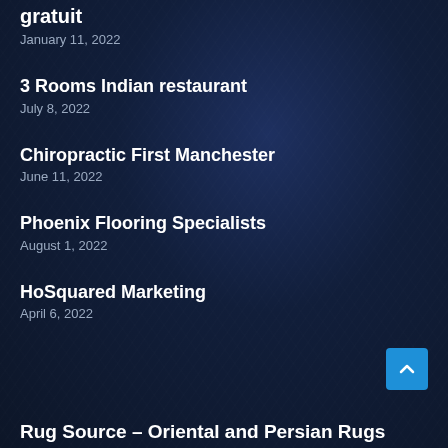gratuit
January 11, 2022
3 Rooms Indian restaurant
July 8, 2022
Chiropractic First Manchester
June 11, 2022
Phoenix Flooring Specialists
August 1, 2022
HoSquared Marketing
April 6, 2022
Rug Source – Oriental and Persian Rugs